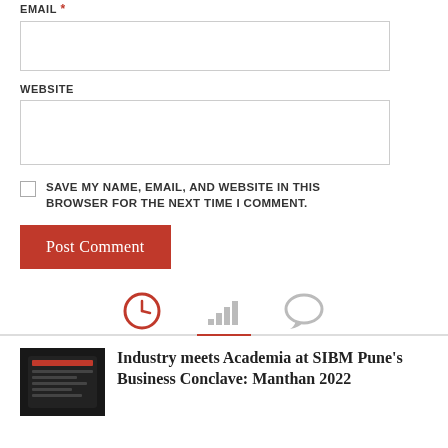EMAIL *
WEBSITE
SAVE MY NAME, EMAIL, AND WEBSITE IN THIS BROWSER FOR THE NEXT TIME I COMMENT.
Post Comment
[Figure (other): Tab navigation icons: clock/recent (active, red), bar chart/trending, and speech bubble/comments icons with a red underline on the first tab]
[Figure (photo): Thumbnail image of a mobile phone showing a website/app interface on dark background]
Industry meets Academia at SIBM Pune's Business Conclave: Manthan 2022